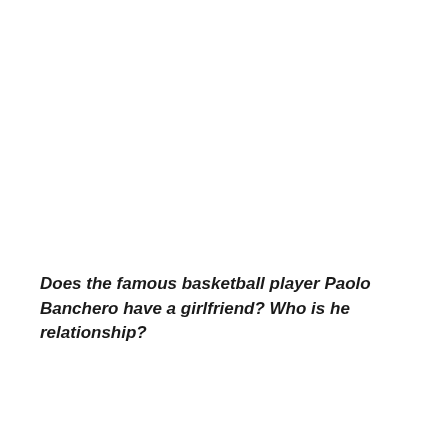Does the famous basketball player Paolo Banchero have a girlfriend? Who is he relationship?